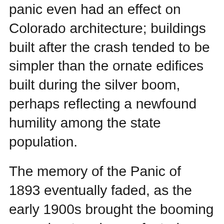panic even had an effect on Colorado architecture; buildings built after the crash tended to be simpler than the ornate edifices built during the silver boom, perhaps reflecting a newfound humility among the state population.
The memory of the Panic of 1893 eventually faded, as the early 1900s brought the booming sugar beet and manufacturing industries, Colorado Fuel & Iron's statewide coal empire, and a surge in agricultural demand during World War I. Still, the Panic of 1893 holds lessons for the state that are not always heeded. For instance, by the early 1980s, Colorado's economy was nearly as dependent on oil shale as it was on silver during the 1890s. When ExxonMobil and other oil companies